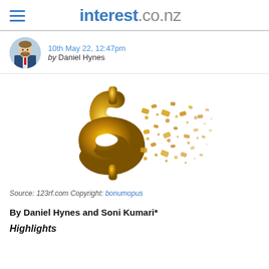interest.co.nz
10th May 22, 12:47pm
by Daniel Hynes
[Figure (illustration): 3D golden dollar sign disintegrating into particles on white background]
Source: 123rf.com Copyright: bonumopus
By Daniel Hynes and Soni Kumari*
Highlights